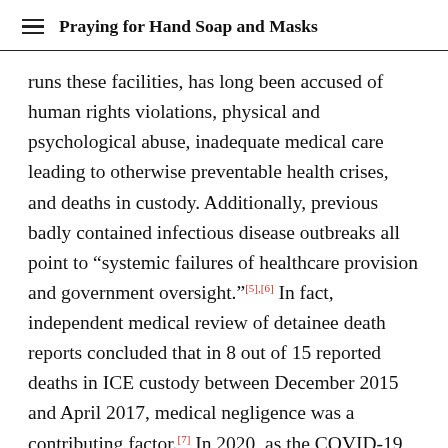Praying for Hand Soap and Masks
runs these facilities, has long been accused of human rights violations, physical and psychological abuse, inadequate medical care leading to otherwise preventable health crises, and deaths in custody. Additionally, previous badly contained infectious disease outbreaks all point to “systemic failures of healthcare provision and government oversight.”[5],[6] In fact, independent medical review of detainee death reports concluded that in 8 out of 15 reported deaths in ICE custody between December 2015 and April 2017, medical negligence was a contributing factor.[7] In 2020, as the COVID-19 pandemic spread across the country, it became